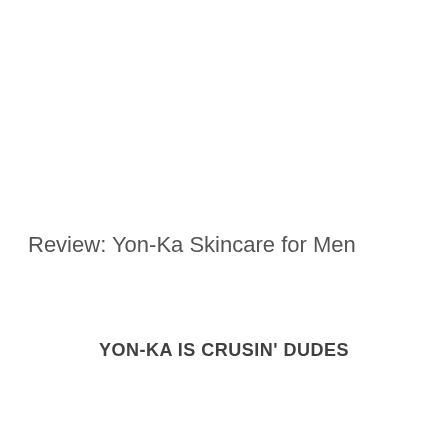Review: Yon-Ka Skincare for Men
YON-KA IS CRUSIN' DUDES